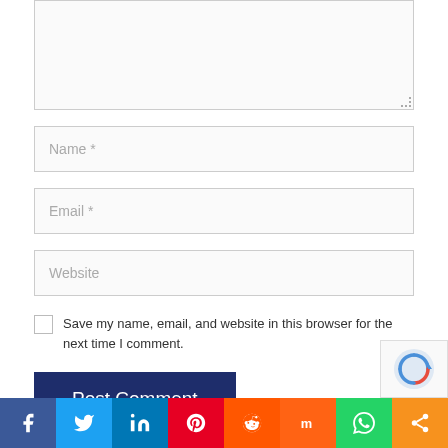Name *
Email *
Website
Save my name, email, and website in this browser for the next time I comment.
Post Comment
[Figure (infographic): Social sharing bar with icons: Facebook, Twitter, LinkedIn, Pinterest, Reddit, Mix, WhatsApp, Share]